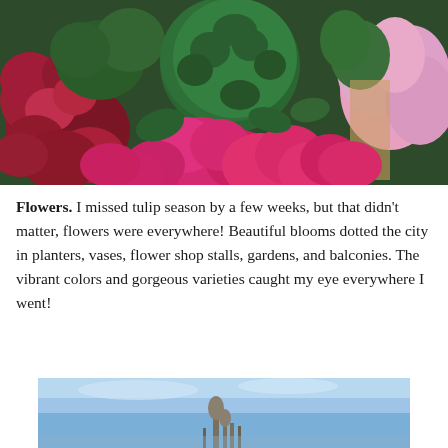[Figure (photo): Flower market stall with vibrant red/pink peonies, green topiary ball, pink roses in background, and a price sign reading 'Pfaon Rosen Tasse Fay 6.50 a 100g']
Flowers. I missed tulip season by a few weeks, but that didn't matter, flowers were everywhere! Beautiful blooms dotted the city in planters, vases, flower shop stalls, gardens, and balconies. The vibrant colors and gorgeous varieties caught my eye everywhere I went!
[Figure (photo): Bottom portion of a photo showing a blue sky with what appears to be ornate tower spires or architectural elements in the distance]